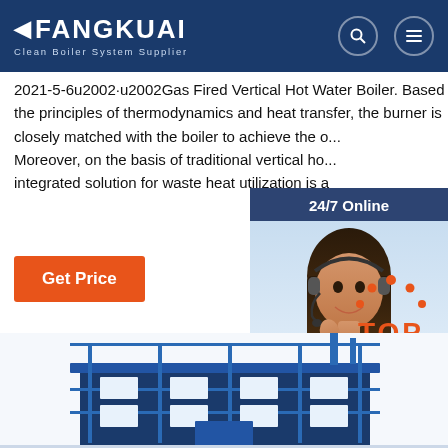FANGKUAI - Clean Boiler System Supplier
2021-5-6u2002·u2002Gas Fired Vertical Hot Water Boiler. Based on the principles of thermodynamics and heat transfer, the burner is closely matched with the boiler to achieve the o... Moreover, on the basis of traditional vertical ho... integrated solution for waste heat utilization is a
[Figure (photo): Customer service representative with headset, 24/7 Online chat widget overlay with navy blue background, 'Click here for free chat!' text, and orange QUOTATION button]
[Figure (illustration): Orange 'TOP' button with dot arc above it indicating scroll to top]
[Figure (photo): Industrial boiler building/facility illustration in blue line art style at bottom of page]